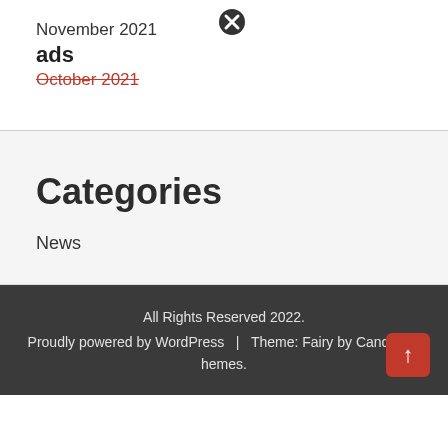November 2021
ads
October 2021
Categories
News
All Rights Reserved 2022. Proudly powered by WordPress | Theme: Fairy by CandidThemes.